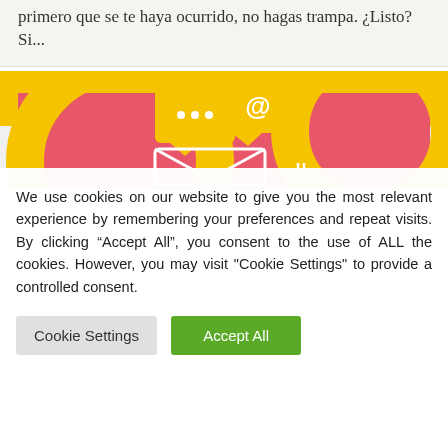primero que se te haya ocurrido, no hagas trampa. ¿Listo? Si...
[Figure (illustration): Colorful illustration with pink/red and yellow background showing speech bubbles with ellipsis and '@' symbol, and envelope icon below — related to email/messaging theme.]
We use cookies on our website to give you the most relevant experience by remembering your preferences and repeat visits. By clicking "Accept All", you consent to the use of ALL the cookies. However, you may visit "Cookie Settings" to provide a controlled consent.